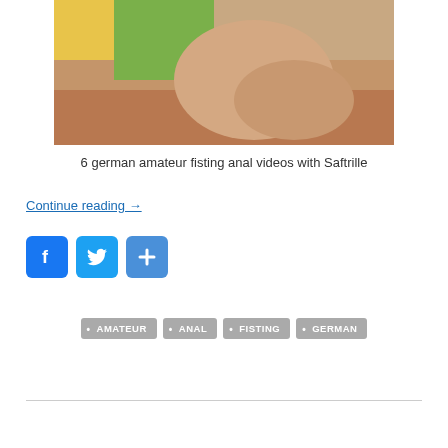[Figure (photo): Cropped adult content photo with colorful background (yellow, green, red)]
6 german amateur fisting anal videos with Saftrille
Continue reading →
[Figure (infographic): Social sharing buttons: Facebook, Twitter, and a plus/add button]
• AMATEUR • ANAL • FISTING • GERMAN